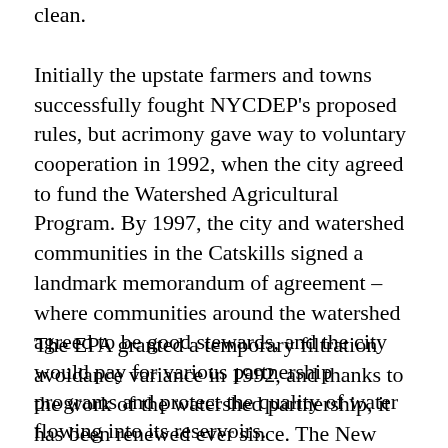clean.
Initially the upstate farmers and towns successfully fought NYCDEP's proposed rules, but acrimony gave way to voluntary cooperation in 1992, when the city agreed to fund the Watershed Agricultural Program. By 1997, the city and watershed communities in the Catskills signed a landmark memorandum of agreement – where communities around the watershed agreed to be good stewards, and the city would pay for various partnership programs and protect the quality of water flowing into its reservoirs.
The EPA granted a temporary filtration avoidance variance in 1992, and thanks to the work of the watershed partnership, it has been renewed ever since. The New York State Department of Health to be sure the technology of the filtration avoidance...